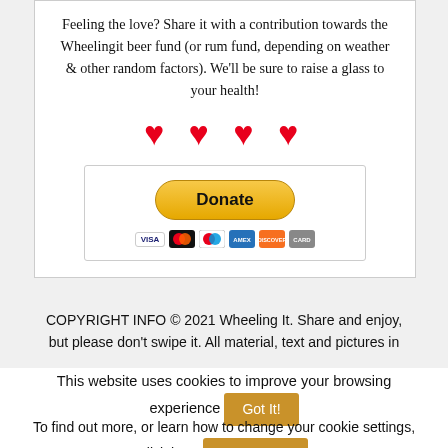Feeling the love? Share it with a contribution towards the Wheelingit beer fund (or rum fund, depending on weather & other random factors). We'll be sure to raise a glass to your health!
[Figure (illustration): Four red heart symbols in a row]
[Figure (other): PayPal Donate button with payment card icons (Visa, Mastercard, Mastercard, American Express, Discover, and one more card)]
COPYRIGHT INFO © 2021 Wheeling It. Share and enjoy, but please don't swipe it. All material, text and pictures in
This website uses cookies to improve your browsing experience  Got It!
To find out more, or learn how to change your cookie settings, click here  Read more